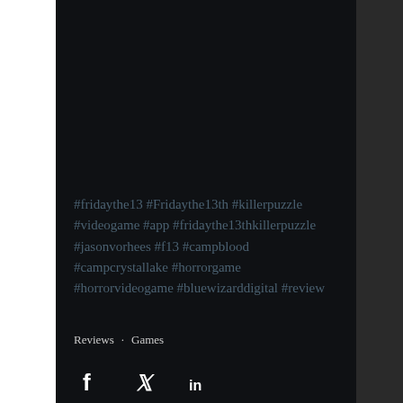#fridaythe13 #Fridaythe13th #killerpuzzle #videogame #app #fridaythe13thkillerpuzzle #jasonvorhees #f13 #campblood #campcrystallake #horrorgame #horrorvideogame #bluewizarddigital #review
Reviews · Games